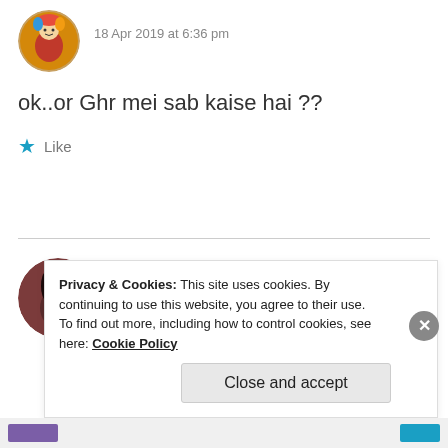[Figure (photo): Circular avatar showing a colorful religious/cultural illustration, partially visible at top]
18 Apr 2019 at 6:36 pm
ok..or Ghr mei sab kaise hai ??
★ Like
[Figure (photo): Circular avatar showing a person with dark hair against dark background]
ZEALOUS HOMO SAPIENS
18 Apr 2019 at 6:37 pm
Privacy & Cookies: This site uses cookies. By continuing to use this website, you agree to their use.
To find out more, including how to control cookies, see here: Cookie Policy
Close and accept